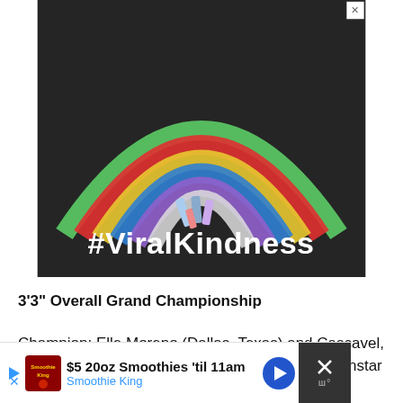[Figure (photo): Advertisement showing a chalk-drawn rainbow on dark pavement with chalk sticks in the center, overlaid with white bold text '#ViralKindness']
3'3" Overall Grand Championship
Champion: Elle Moreno (Dallas, Texas) and Cascavel, a 2008 Dutch Warmblood gelding owned by Elvenstar Farm
[Figure (infographic): Bottom advertisement banner: '$5 20oz Smoothies 'til 11am — Smoothie King' with logo, blue arrow navigation button, and dark close button with WPP logo]